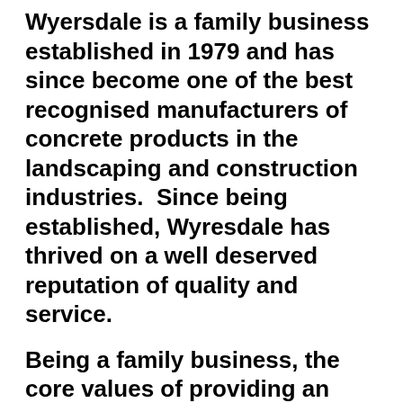Wyersdale is a family business established in 1979 and has since become one of the best recognised manufacturers of concrete products in the landscaping and construction industries.  Since being established, Wyresdale has thrived on a well deserved reputation of quality and service.
Being a family business, the core values of providing an excellent quality product range alongside and efficient service have remained through a period of growth, something they feel shows in the products that they